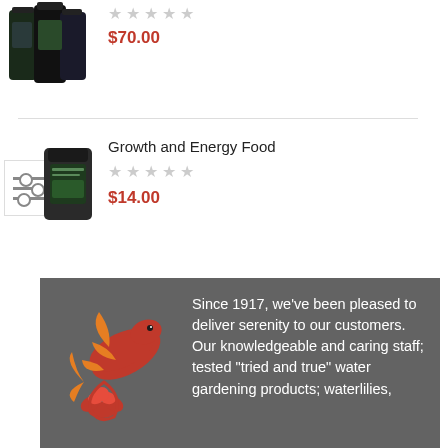[Figure (photo): Product image showing multiple dark bottles/containers for pond/aquatic products]
$70.00
[Figure (photo): Product image of a dark container/jar for Growth and Energy Food, with a filter/settings icon overlay]
Growth and Energy Food
$14.00
[Figure (illustration): Koi fish logo in red and orange with lotus flower, on dark gray background]
Since 1917, we've been pleased to deliver serenity to our customers. Our knowledgeable and caring staff; tested "tried and true" water gardening products; waterlilies,